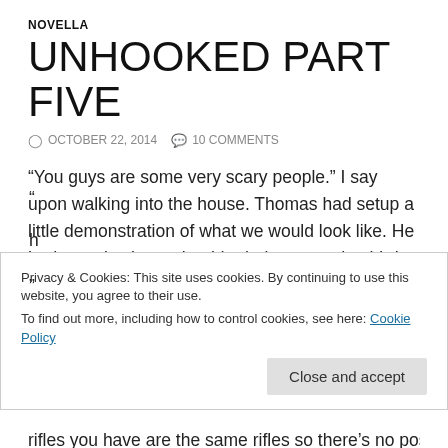NOVELLA
UNHOOKED PART FIVE
OCTOBER 22, 2014   10 COMMENTS
“You guys are some very scary people.” I say upon walking into the house. Thomas had setup a little demonstration of what we would look like. He had two pistols on shoulder holsters, and a third on his hip. There was a rifle on his lap, and another rifle slung across his back. He had a bandoleer of high caliber rounds and to top it all off, he was in all black tactical clothing with a black mask over this face.
Privacy & Cookies: This site uses cookies. By continuing to use this website, you agree to their use. To find out more, including how to control cookies, see here: Cookie Policy
rifles you have are the same rifles so there’s no possible reason